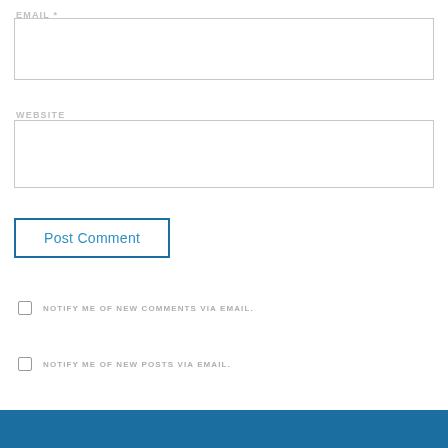EMAIL *
(email input box)
WEBSITE
(website input box)
Post Comment
NOTIFY ME OF NEW COMMENTS VIA EMAIL.
NOTIFY ME OF NEW POSTS VIA EMAIL.